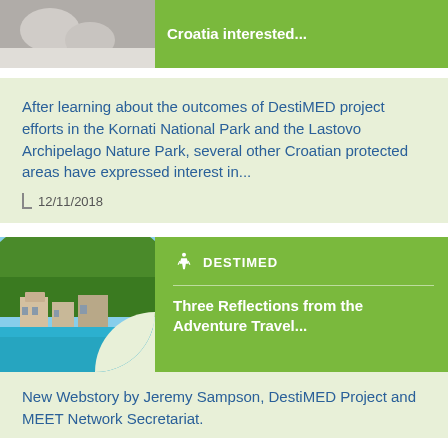Croatia interested...
After learning about the outcomes of DestiMED project efforts in the Kornati National Park and the Lastovo Archipelago Nature Park, several other Croatian protected areas have expressed interest in...
12/11/2018
Three Reflections from the Adventure Travel...
DESTIMED
New Webstory by Jeremy Sampson, DestiMED Project and MEET Network Secretariat.